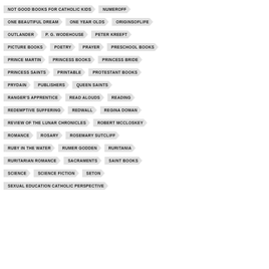NOT GOOD BOOKS FOR CATHOLIC KIDS
NUMEROFF
ONE BEAUTIFUL DREAM
ONE YEAR OLDS
ORIGINSOFLIFE
OUTLANDER
P. G. WODEHOUSE
PETER KREEFT
PICTURE BOOKS
POETRY
PRAYER
PRESCHOOL BOOKS
PRINCE MARTIN
PRINCESS BOOKS
PRINCESS BRIDE
PRINCESS SAINTS
PRINTABLE
PROTESTANT BOOKS
PRYDAIN
PUBLISHERS
QUEEN SAINTS
RANGER'S APPRENTICE
READ ALOUDS
READING
REDEMPTIVE SUFFERING
REDWALL
REGINA DOMAN
REVIEW OF THE LUNAR CHRONICLES
ROBERT MCCLOSKEY
ROMANCE
ROSARY
ROSEMARY SUTCLIFF
RUBY IN THE WATER
RUMER GODDEN
RURITANIA
RURITARIAN ROMANCE
SACRAMENTS
SAINT BOOKS
SCIENCE
SCIENCE FICTION
SETON
SEXUAL EDUCATION CATHOLIC PERSPECTIVE